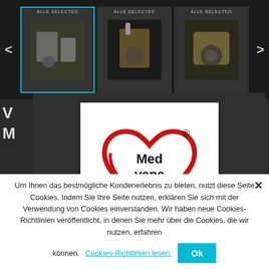[Figure (screenshot): Dark e-commerce website background showing a product carousel at the top with three product images (vape/mod devices) and navigation arrows, with partial left-side product listing text visible]
[Figure (logo): Medvape logo — red heart shape outline with 'Med vape' text in black bold font inside, registered trademark symbol at top right]
The access of this website is not granted to underage users
In order to enter this site, please certify that you are of legal age to access a shop selling age restricted products
Um Ihnen das bestmögliche Kundenerlebnis zu bieten, nutzt diese Seite Cookies. Indem Sie Ihre Seite nutzen, erklären Sie sich mit der Verwendung von Cookies einverstanden. Wir haben neue Cookies-Richtlinien veröffentlicht, in denen Sie mehr über die Cookies, die wir nutzen, erfahren können.
Cookies-Richtlinien lesen.
Ok